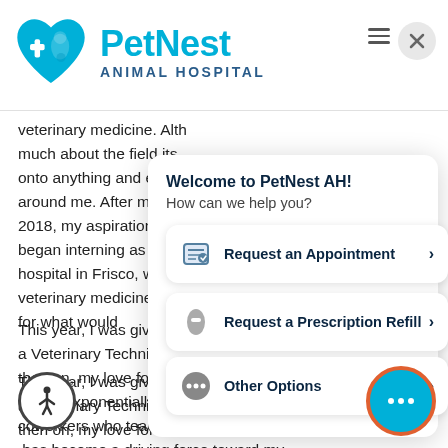Veterinary Technician
[Figure (logo): PetNest Animal Hospital logo with teal heart icon containing a paw and cross symbol, with 'PetNest' in teal and 'ANIMAL HOSPITAL' in dark blue]
veterinary medicine. Although I didn't know much about the field itself, I latched onto anything and everything that was around me. After moving to Texas in 2018, my aspirations started becoming a reality. I began interning as a kennel tech at a hospital in Frisco, which broadened my veterinary medicine and created the foundation for what would
Welcome to PetNest AH!
How can we help you?
Request an Appointment >
Request a Prescription Refill >
Other Options >
This year, I was given the opportunity to become a Veterinary Technician at PetNest AH. From then on, my love for the veterinary field has grown exponentially. Being surrounded by amazing coworkers who teach and encourage me daily has become a driving force toward my goals, and for that, I am forever grateful.